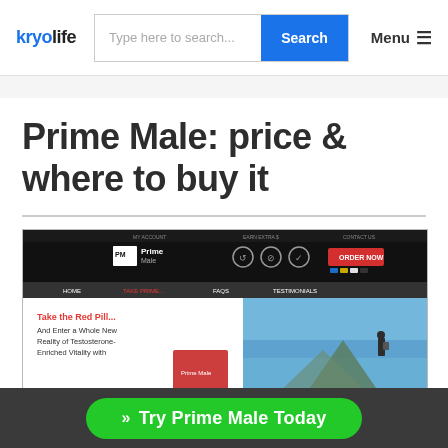kryolife  [search bar]  Search  Menu
Prime Male: price & where to buy it
[Figure (screenshot): Screenshot of the Prime Male official website showing the header navigation bar with Prime Male logo, ORDER NOW button, and the hero section with 'Take the Red Pill... And Enter a Whole New Reality of Testosterone-Enriched Vitality with' text and an outdoor mountain hiker image]
» Try Prime Male Today